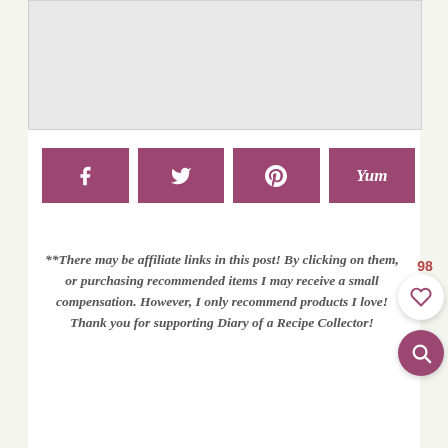[Figure (photo): Gray placeholder image area at top of page]
[Figure (infographic): Row of four social share buttons: Facebook, Twitter, Pinterest, Yummly — all in mauve/purple color]
**There may be affiliate links in this post! By clicking on them, or purchasing recommended items I may receive a small compensation. However, I only recommend products I love! Thank you for supporting Diary of a Recipe Collector!
98